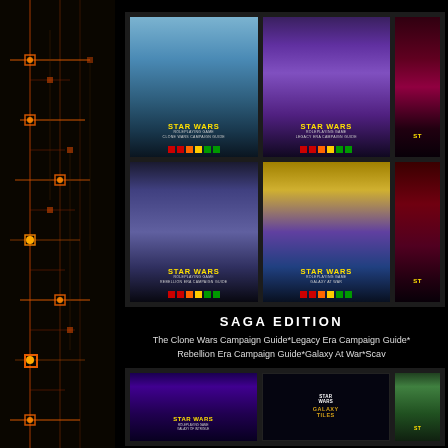[Figure (illustration): Left side vertical decorative panel with orange circuit/tech pattern on dark background]
[Figure (photo): Grid of Star Wars Saga Edition roleplaying game book covers. Top row: The Clone Wars Campaign Guide, Legacy Era Campaign Guide, partially visible third book. Bottom row: Rebellion Era Campaign Guide, Galaxy At War, partially visible third book.]
SAGA EDITION
The Clone Wars Campaign Guide*Legacy Era Campaign Guide*Rebellion Era Campaign Guide*Galaxy At War*Scav...
[Figure (photo): Bottom row of Star Wars roleplaying game book covers: Galaxy of Intrigue, Galaxy Tiles, and a partially visible third book.]